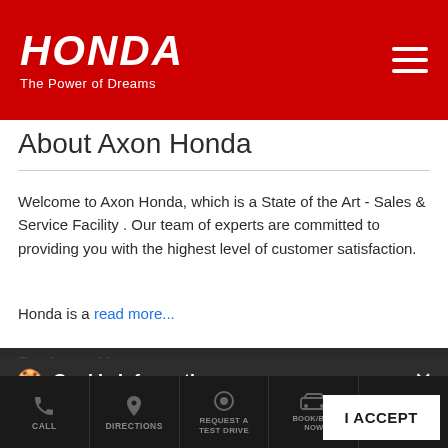HONDA The Power of Dreams
About Axon Honda
Welcome to Axon Honda, which is a State of the Art - Sales & Service Facility . Our team of experts are committed to providing you with the highest level of customer satisfaction.
Honda is a read more...
Business Hours
Cookie Information
We use cookies to improve your experience on our site and to show the relevant content.
CALL   DIRECTIONS   REQUEST A TEST DRIVE   BOOK/BUY NOW   SERVICE